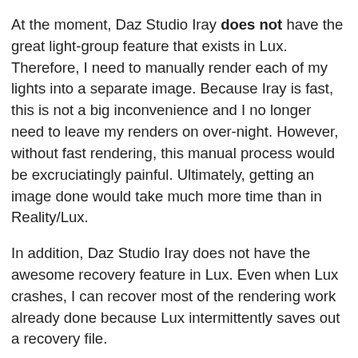At the moment, Daz Studio Iray does not have the great light-group feature that exists in Lux. Therefore, I need to manually render each of my lights into a separate image. Because Iray is fast, this is not a big inconvenience and I no longer need to leave my renders on over-night. However, without fast rendering, this manual process would be excruciatingly painful. Ultimately, getting an image done would take much more time than in Reality/Lux.
In addition, Daz Studio Iray does not have the awesome recovery feature in Lux. Even when Lux crashes, I can recover most of the rendering work already done because Lux intermittently saves out a recovery file.
In short, I mostly use Iray now, because of vendor support